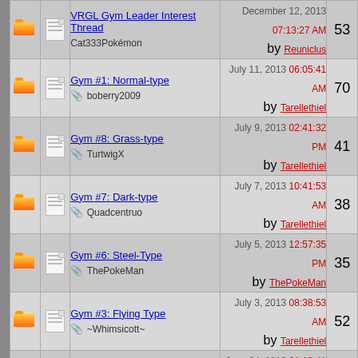|  |  | Thread | Last Post | Replies |
| --- | --- | --- | --- | --- |
| [folder] | [doc] | VRGL Gym Leader Interest Thread
Cat333Pokémon | December 12, 2013 07:13:27 AM by Reuniclus | 53 |
| [folder] | [doc] | Gym #1: Normal-type
boberry2009 | July 11, 2013 06:05:41 AM by Tarellethiel | 70 |
| [folder] | [doc] | Gym #8: Grass-type
TurtwigX | July 9, 2013 02:41:32 PM by Tarellethiel | 41 |
| [folder] | [doc] | Gym #7: Dark-type
Quadcentruo | July 7, 2013 10:41:53 AM by Tarellethiel | 38 |
| [folder] | [doc] | Gym #6: Steel-Type
ThePokeMan | July 5, 2013 12:57:35 PM by ThePokeMan | 35 |
| [folder] | [doc] | Gym #3: Flying Type
~Whimsicott~ | July 3, 2013 08:38:53 AM by Tarellethiel | 52 |
| [folder-locked] | [doc] | Gym #2: Electric-type
Super Pichu62 | June 24, 2013 01:13:41 PM by Tarellethiel | 47 |
| [folder-locked] | [doc] | Gym #4: Ice-Type
Ida58 | January 17, 2013 06:46:31 AM by The Spirit of Time | 10 |